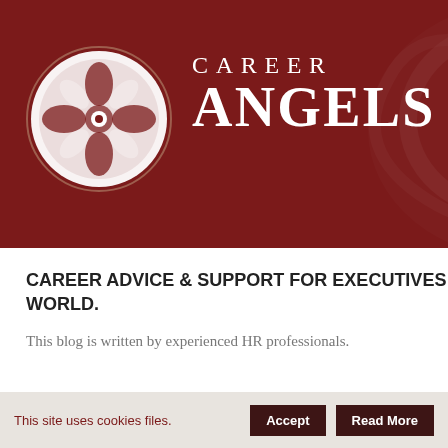[Figure (logo): Career Angels logo: ornate circular emblem on dark red banner with CAREER ANGELS brand name in white serif text]
CAREER ADVICE & SUPPORT FOR EXECUTIVES AROUND THE WORLD.
This blog is written by experienced HR professionals.
MEET OUR TEAM
JOB HUNTING DIRECTOR.
[Figure (photo): Thumbnail image of a book/document titled 'Job Hunting Director' with word cloud design]
A must read for all executives who are considering a move or are already actively looking.
This site uses cookies files.
Accept
Read More